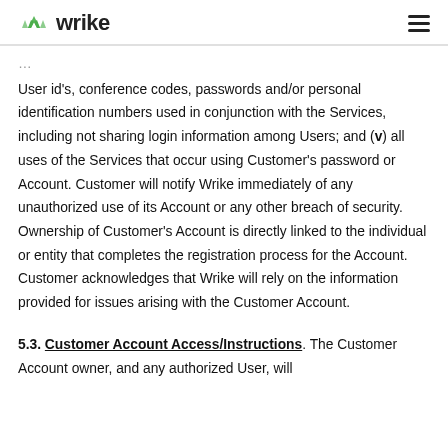wrike (logo)
User id's, conference codes, passwords and/or personal identification numbers used in conjunction with the Services, including not sharing login information among Users; and (v) all uses of the Services that occur using Customer's password or Account. Customer will notify Wrike immediately of any unauthorized use of its Account or any other breach of security. Ownership of Customer's Account is directly linked to the individual or entity that completes the registration process for the Account. Customer acknowledges that Wrike will rely on the information provided for issues arising with the Customer Account.
5.3. Customer Account Access/Instructions. The Customer Account owner, and any authorized User, will